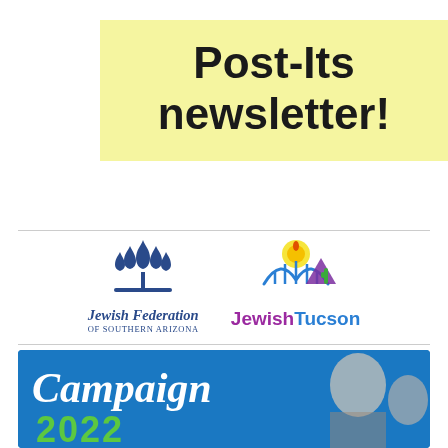Post-Its newsletter!
[Figure (logo): Jewish Federation of Southern Arizona logo with stylized flame/menorah icon in dark blue]
[Figure (logo): JewishTucson logo with colorful menorah, mountain, sun, and cactus icons; text in purple and blue]
[Figure (photo): Campaign 2022 banner image on blue background with white italic 'Campaign' text and green '2022' numerals, with elderly person visible on right side]